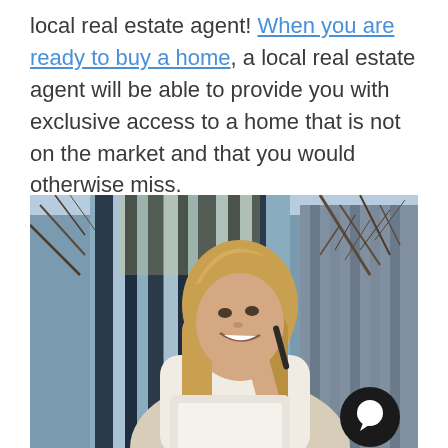local real estate agent! When you are ready to buy a home, a local real estate agent will be able to provide you with exclusive access to a home that is not on the market and that you would otherwise miss.
[Figure (photo): A smiling young woman with long blonde hair holding a pen and a tablet/clipboard, standing outdoors in front of a modern glass building with trees in the background. A circular chat icon is in the bottom-right corner of the image.]